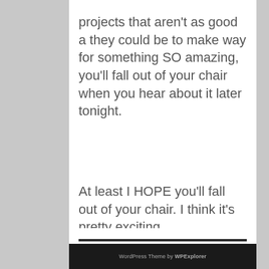projects that aren't as good a they could be to make way for something SO amazing, you'll fall out of your chair when you hear about it later tonight.
At least I HOPE you'll fall out of your chair. I think it's pretty exciting.
WordPress Theme by WPExplorer